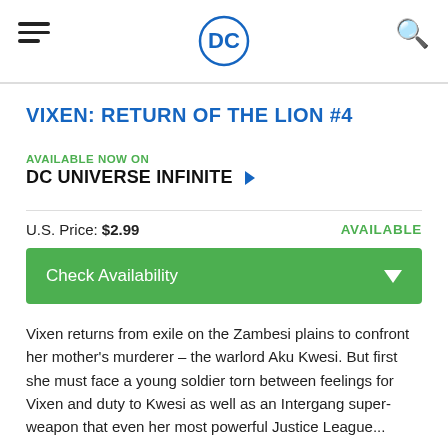DC Comics header with hamburger menu, DC logo, and search icon
VIXEN: RETURN OF THE LION #4
AVAILABLE NOW ON
DC UNIVERSE INFINITE ▶
U.S. Price: $2.99    AVAILABLE
Check Availability
Vixen returns from exile on the Zambesi plains to confront her mother's murderer – the warlord Aku Kwesi. But first she must face a young soldier torn between feelings for Vixen and duty to Kwesi as well as an Intergang super-weapon that even her most powerful Justice League...